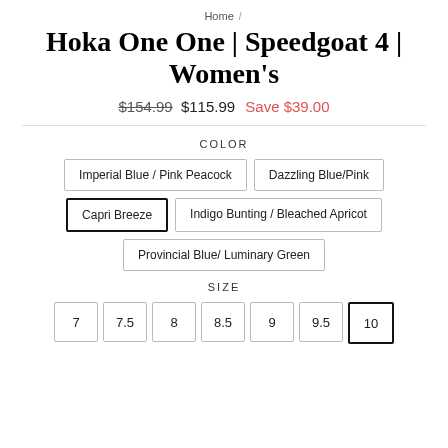Home /
Hoka One One | Speedgoat 4 | Women's
$154.99  $115.99  Save $39.00
COLOR
Imperial Blue / Pink Peacock
Dazzling Blue/Pink
Capri Breeze
Indigo Bunting / Bleached Apricot
Provincial Blue/ Luminary Green
SIZE
7
7.5
8
8.5
9
9.5
10